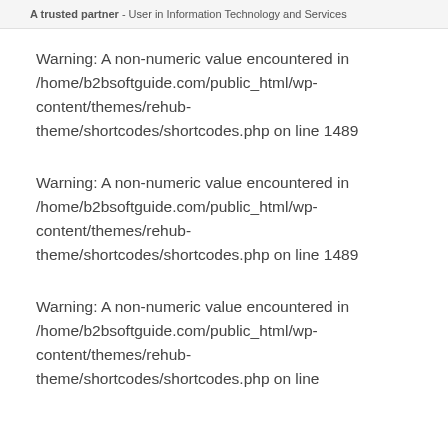A trusted partner - User in Information Technology and Services
Warning: A non-numeric value encountered in /home/b2bsoftguide.com/public_html/wp-content/themes/rehub-theme/shortcodes/shortcodes.php on line 1489
Warning: A non-numeric value encountered in /home/b2bsoftguide.com/public_html/wp-content/themes/rehub-theme/shortcodes/shortcodes.php on line 1489
Warning: A non-numeric value encountered in /home/b2bsoftguide.com/public_html/wp-content/themes/rehub-theme/shortcodes/shortcodes.php on line